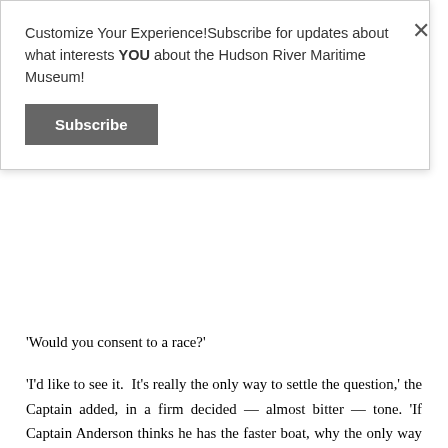Customize Your Experience! Subscribe for updates about what interests YOU about the Hudson River Maritime Museum!
Subscribe
'Would you consent to a race?'
'I'd like to see it. It's really the only way to settle the question,' the Captain added, in a firm decided — almost bitter — tone. 'If Captain Anderson thinks he has the faster boat, why the only way to settle it is to put the two boats together. It's the only way, and I'd like to see it done.'
'What do you think the result would be?'
The Captain's answer was sharp and quick. 'I don't think they'd go very far before they would go back,' he